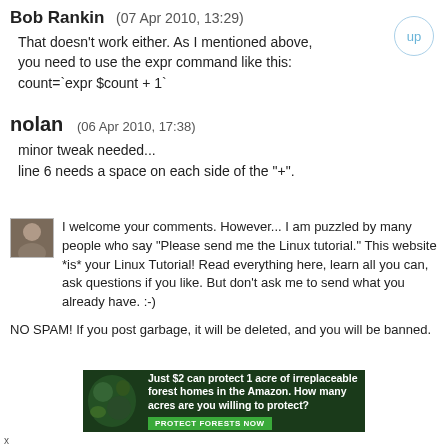Bob Rankin   (07 Apr 2010, 13:29)
That doesn't work either. As I mentioned above, you need to use the expr command like this:
count=`expr $count + 1`
nolan   (06 Apr 2010, 17:38)
minor tweak needed...
line 6 needs a space on each side of the "+".
I welcome your comments. However... I am puzzled by many people who say "Please send me the Linux tutorial." This website *is* your Linux Tutorial! Read everything here, learn all you can, ask questions if you like. But don't ask me to send what you already have. :-)
NO SPAM! If you post garbage, it will be deleted, and you will be banned.
[Figure (infographic): Advertisement banner: Just $2 can protect 1 acre of irreplaceable forest homes in the Amazon. How many acres are you willing to protect? PROTECT FORESTS NOW]